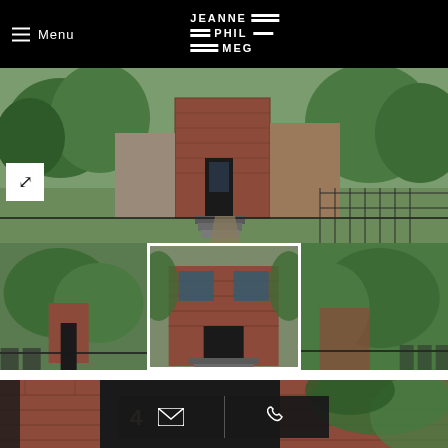Menu | JEANNE PHIL MEG (logo)
[Figure (photo): Exterior view of red brick townhouse with green trees and landscaped front yard, panoramic view]
[Figure (photo): Three thumbnail photos of the same red brick townhouse exterior from different angles]
[Figure (photo): Close-up of red brick townhouse front door with number 4, black trim, surrounded by green foliage]